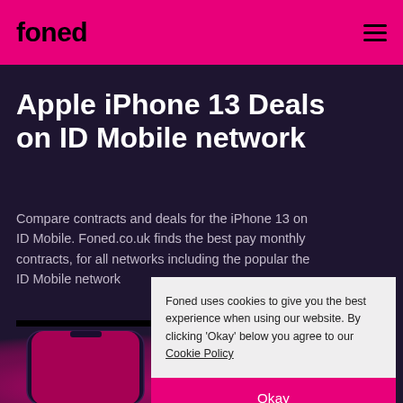foned
Apple iPhone 13 Deals on ID Mobile network
Compare contracts and deals for the iPhone 13 on ID Mobile. Foned.co.uk finds the best pay monthly contracts, for all networks including the popular the ID Mobile network
VIEW ALL IPHONE 13 DEALS →
Foned uses cookies to give you the best experience when using our website. By clicking 'Okay' below you agree to our Cookie Policy
Okay
[Figure (photo): Red iPhone 13 device shown partially at bottom of dark background section]